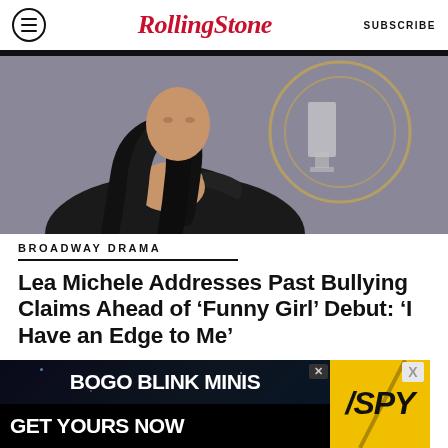RollingStone  SUBSCRIBE
[Figure (photo): Photo of Lea Michele in a black off-shoulder dress with long dark wavy hair, standing against a grey/gold award backdrop]
BROADWAY DRAMA
Lea Michele Addresses Past Bullying Claims Ahead of ‘Funny Girl’ Debut: ‘I Have an Edge to Me’
BY EMILY ZEMLER
[Figure (screenshot): Advertisement banner: BOGO BLINK MINIS - GET YOURS NOW with SPY logo on yellow background]